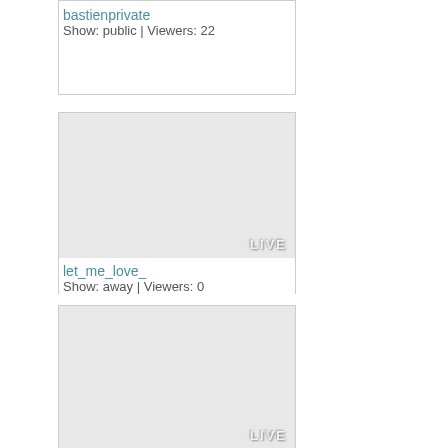bastienprivate
Show: public | Viewers: 22
[Figure (screenshot): Live stream thumbnail placeholder with LIVE badge for let_me_love_]
let_me_love_
Show: away | Viewers: 0
[Figure (screenshot): Live stream thumbnail placeholder with LIVE badge, third card]